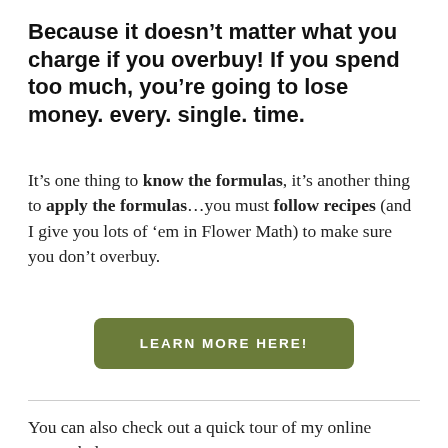Because it doesn’t matter what you charge if you overbuy! If you spend too much, you’re going to lose money. every. single. time.
It’s one thing to know the formulas, it’s another thing to apply the formulas…you must follow recipes (and I give you lots of ’em in Flower Math) to make sure you don’t overbuy.
[Figure (other): Green rounded rectangle button with white uppercase text: LEARN MORE HERE!]
You can also check out a quick tour of my online course below: